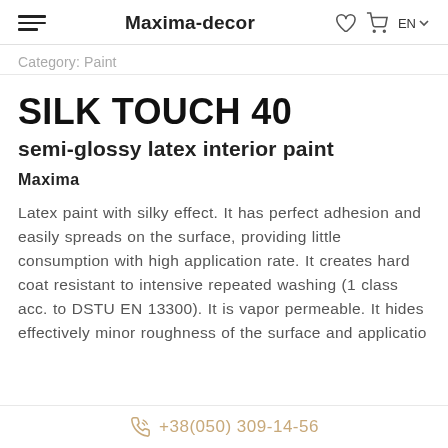Maxima-decor
Category: Paint
SILK TOUCH 40
semi-glossy latex interior paint
Maxima
Latex paint with silky effect. It has perfect adhesion and easily spreads on the surface, providing little consumption with high application rate. It creates hard coat resistant to intensive repeated washing (1 class acc. to DSTU EN 13300). It is vapor permeable. It hides effectively minor roughness of the surface and application...
+38(050) 309-14-56